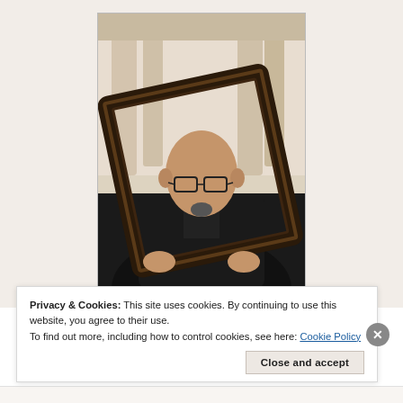[Figure (photo): A bald man wearing glasses and a black jacket holds a large ornate dark picture frame in front of himself. He is photographed in front of classical columns in a soft, slightly desaturated outdoor setting.]
Privacy & Cookies: This site uses cookies. By continuing to use this website, you agree to their use.
To find out more, including how to control cookies, see here: Cookie Policy
Close and accept